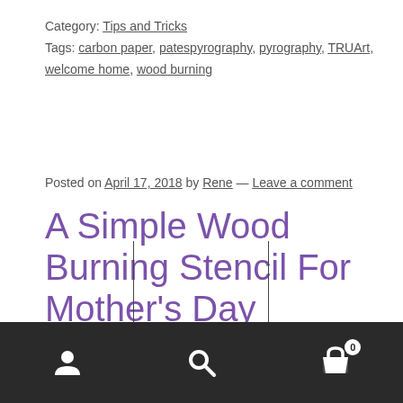Category: Tips and Tricks
Tags: carbon paper, patespyrography, pyrography, TRUArt, welcome home, wood burning
Posted on April 17, 2018 by Rene — Leave a comment
A Simple Wood Burning Stencil For Mother's Day
[Figure (photo): Large stylized text 'MOM' in bold black italic font, partially cropped at bottom]
Navigation bar with user icon, search icon, and cart icon (0 items)